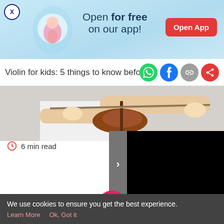[Figure (infographic): App advertisement banner with light blue background, pregnancy illustration, text 'Open for free on our app!' and a red 'Open App' button. A close (X) button in the top-left corner.]
Violin for kids: 5 things to know before
[Figure (photo): Child playing violin, hands visible holding the bow and instrument]
6 min read
[Figure (screenshot): Black content panel (video/slideshow area) with a gray arrow button on the left side]
[Figure (infographic): Bottom navigation bar with icons: Tools (grid icon), Articles (clipboard icon), Home (pink circle with baby feet), Feed (chat bubbles icon), Poll (bar chart icon)]
We use cookies to ensure you get the best experience.
Learn More   Ok, Got it